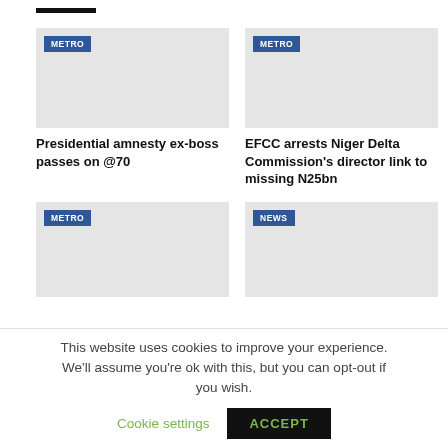[Figure (other): Horizontal black bar decoration at top]
[Figure (photo): Article image placeholder with METRO tag label - Presidential amnesty ex-boss passes on @70]
[Figure (photo): Article image placeholder with METRO tag label - EFCC arrests Niger Delta Commission's director link to missing N25bn]
Presidential amnesty ex-boss passes on @70
EFCC arrests Niger Delta Commission's director link to missing N25bn
[Figure (photo): Article image placeholder with METRO tag label - bottom left card]
[Figure (photo): Article image placeholder with NEWS tag label - bottom right card]
This website uses cookies to improve your experience. We'll assume you're ok with this, but you can opt-out if you wish.
Cookie settings
ACCEPT